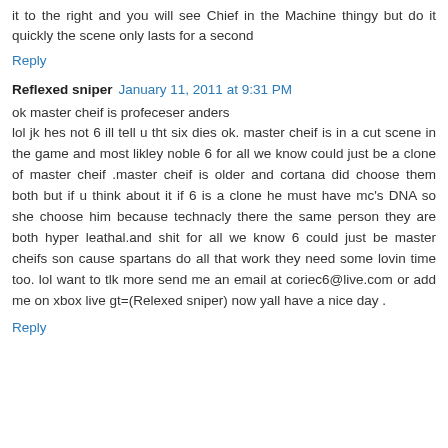it to the right and you will see Chief in the Machine thingy but do it quickly the scene only lasts for a second
Reply
Reflexed sniper  January 11, 2011 at 9:31 PM
ok master cheif is profeceser anders lol jk hes not 6 ill tell u tht six dies ok. master cheif is in a cut scene in the game and most likley noble 6 for all we know could just be a clone of master cheif .master cheif is older and cortana did choose them both but if u think about it if 6 is a clone he must have mc's DNA so she choose him because technacly there the same person they are both hyper leathal.and shit for all we know 6 could just be master cheifs son cause spartans do all that work they need some lovin time too. lol want to tlk more send me an email at coriec6@live.com or add me on xbox live gt=(Relexed sniper) now yall have a nice day .
Reply